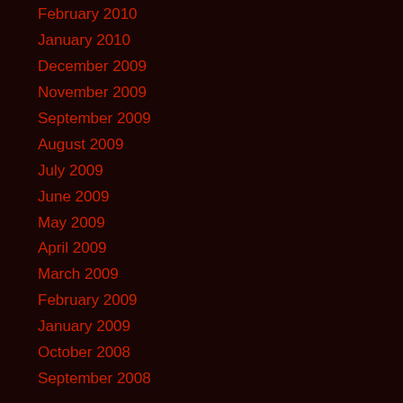February 2010
January 2010
December 2009
November 2009
September 2009
August 2009
July 2009
June 2009
May 2009
April 2009
March 2009
February 2009
January 2009
October 2008
September 2008